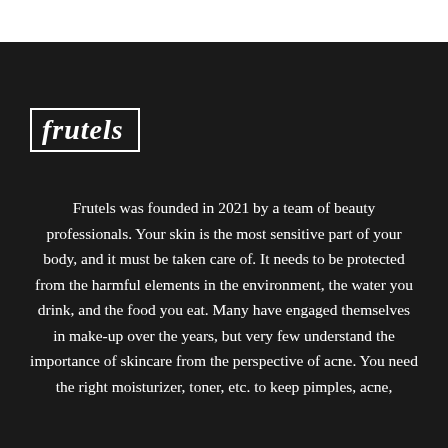[Figure (logo): Frutels logo: white italic bold serif text 'frutels' inside a white rectangular border, on dark background]
Frutels was founded in 2021 by a team of beauty professionals. Your skin is the most sensitive part of your body, and it must be taken care of. It needs to be protected from the harmful elements in the environment, the water you drink, and the food you eat. Many have engaged themselves in make-up over the years, but very few understand the importance of skincare from the perspective of acne. You need the right moisturizer, toner, etc. to keep pimples, acne,